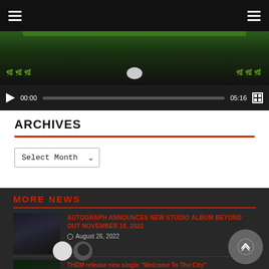Navigation header with hamburger menus
[Figure (screenshot): Video player showing dark video frame with green decorative elements and playback controls showing 00:00 / 05:16]
ARCHIVES
Select Month dropdown
MORE NEWS
AUTOGRAPH ANNOUNCES NEW STUDIO ALBUM BEYOND OUT NOVEMBER 18, 2022
August 26, 2022
THEM release new single "Welcome To The City"
August 26, 2022